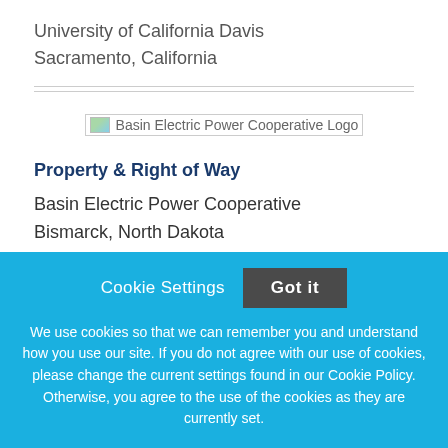University of California Davis
Sacramento, California
[Figure (logo): Basin Electric Power Cooperative Logo — broken image placeholder with alt text]
Property & Right of Way
Basin Electric Power Cooperative
Bismarck, North Dakota
Cookie Settings   Got it
We use cookies so that we can remember you and understand how you use our site. If you do not agree with our use of cookies, please change the current settings found in our Cookie Policy. Otherwise, you agree to the use of the cookies as they are currently set.